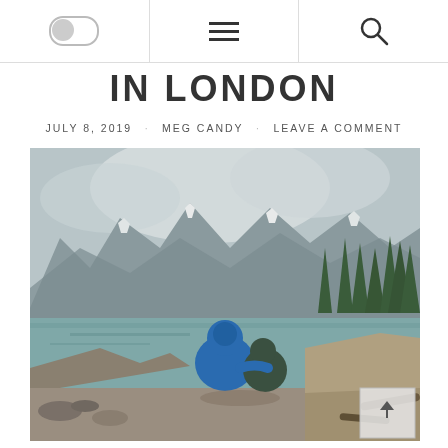Navigation bar with toggle, hamburger menu, and search icon
IN LONDON
JULY 8, 2019   MEG CANDY   LEAVE A COMMENT
[Figure (photo): Two people in rain jackets sitting together facing a mountain lake with snow-capped peaks, evergreen trees, and cloudy sky in the background.]